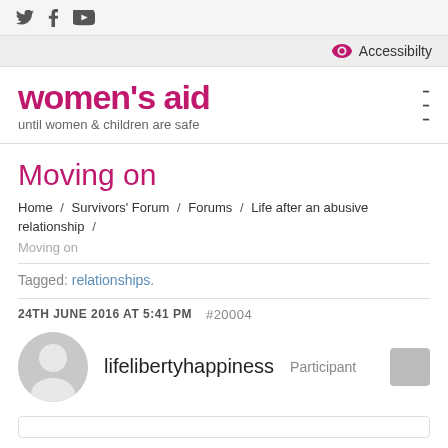Twitter Facebook YouTube | Accessibility
[Figure (logo): Women's Aid logo with tagline 'until women & children are safe']
Moving on
Home / Survivors' Forum / Forums / Life after an abusive relationship / Moving on
Tagged: relationships.
24TH JUNE 2016 AT 5:41 PM  #20004
lifelibertyhappiness  Participant